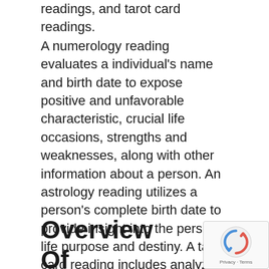readings, and tarot card readings.
A numerology reading evaluates a individual's name and birth date to expose positive and unfavorable characteristic, crucial life occasions, strengths and weaknesses, along with other information about a person. An astrology reading utilizes a person's complete birth date to provide insight into the person's life purpose and destiny. A tarot card reading includes analyzing cards from a Tarot deck to use insight into the future of an individual or group of individuals.
Overview Of Numerologist.com